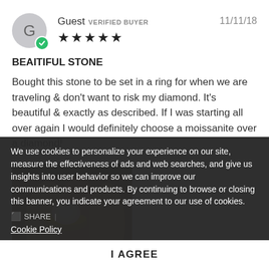[Figure (other): User avatar circle with letter G and green verified checkmark badge]
Guest VERIFIED BUYER   11/11/18
★★★★★
BEAITIFUL STONE
Bought this stone to be set in a ring for when we are traveling & don't want to risk my diamond. It's beautiful & exactly as described. If I was starting all over again I would definitely choose a moissanite over a diamond!
[Figure (photo): Photo of a hand wearing a diamond/moissanite ring set in gold]
We use cookies to personalize your experience on our site, measure the effectiveness of ads and web searches, and give us insights into user behavior so we can improve our communications and products. By continuing to browse or closing this banner, you indicate your agreement to our use of cookies.
Cookie Policy
I AGREE